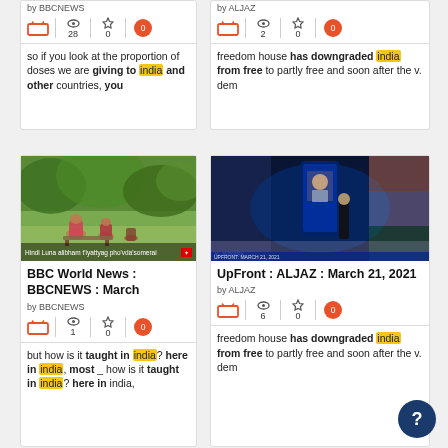[Figure (screenshot): Top-left card: BBC News clip metadata with TV icon, 28 views, 0 favorites, 0 quotes. Text snippet about giving doses to india and other countries.]
[Figure (screenshot): Top-right card: ALJAZ clip metadata with TV icon, 2 views, 0 favorites, 0 quotes. Text snippet about freedom house downgrading india from free to partly free.]
[Figure (screenshot): Bottom-left card: BBC World News : BBCNEWS : March - thumbnail of park scene, 1 view, 0 favorites, 0 quotes. Text about teaching in india.]
[Figure (screenshot): Bottom-right card: UpFront : ALJAZ : March 21, 2021 - thumbnail of TV studio, 6 views, 0 favorites, 0 quotes. Text about freedom house downgrading india.]